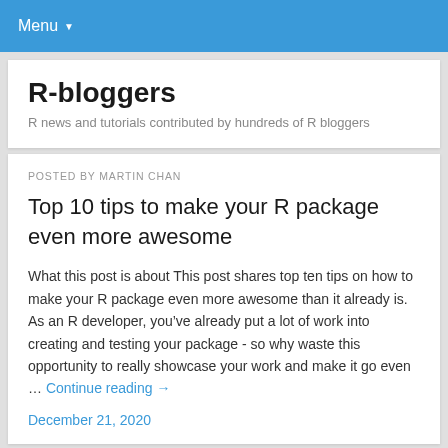Menu
R-bloggers
R news and tutorials contributed by hundreds of R bloggers
POSTED BY MARTIN CHAN
Top 10 tips to make your R package even more awesome
What this post is about This post shares top ten tips on how to make your R package even more awesome than it already is. As an R developer, you’ve already put a lot of work into creating and testing your package - so why waste this opportunity to really showcase your work and make it go even … Continue reading →
December 21, 2020